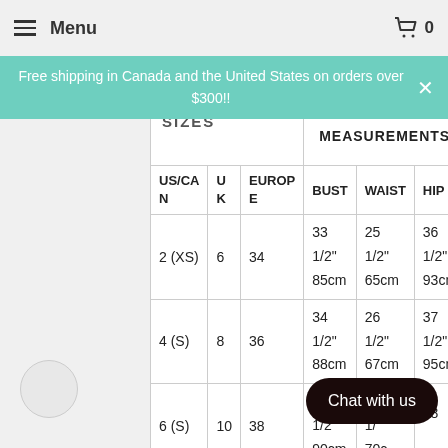Menu  0
Free shipping in Canada and the United States on orders over $300!!
| US/CAN | UK | EUROPE | BUST | WAIST | HIP |
| --- | --- | --- | --- | --- | --- |
| 2 (XS) | 6 | 34 | 33 1/2" 85cm | 25 1/2" 65cm | 36 1/2" 93cm |
| 4 (S) | 8 | 36 | 34 1/2" 88cm | 26 1/2" 67cm | 37 1/2" 95cm |
| 6 (S) | 10 | 38 | 35 1/2" 90cm | 27 1/2" 70cm | 38 1/2" |
|  |  |  | 36 | 28 | 39 |